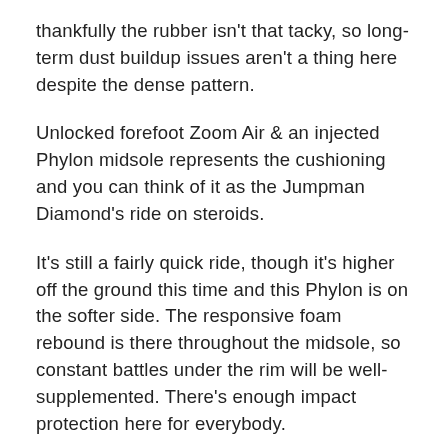thankfully the rubber isn't that tacky, so long-term dust buildup issues aren't a thing here despite the dense pattern.
Unlocked forefoot Zoom Air & an injected Phylon midsole represents the cushioning and you can think of it as the Jumpman Diamond's ride on steroids.
It's still a fairly quick ride, though it's higher off the ground this time and this Phylon is on the softer side. The responsive foam rebound is there throughout the midsole, so constant battles under the rim will be well-supplemented. There's enough impact protection here for everybody.
While the shoe's construction isn't an ideal vision a